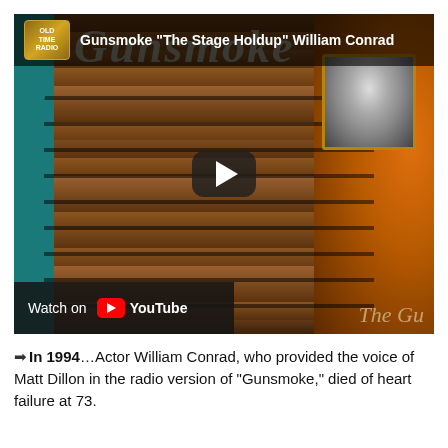[Figure (screenshot): YouTube video thumbnail showing a vintage wooden radio with a black and white photo of William Conrad inset at top right, with 'Gunsmoke' text and a play button overlay. Top bar shows channel icon and title 'Gunsmoke "The Stage Holdup" William Conrad'. Bottom left shows 'Watch on YouTube' bar.]
➡In 1994…Actor William Conrad, who provided the voice of Matt Dillon in the radio version of "Gunsmoke," died of heart failure at 73.